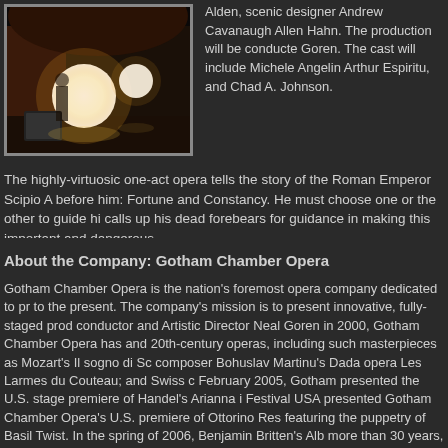[Figure (photo): A theatrical stage photo showing a performer near large glowing spherical lights on a dark stage]
Alden, scenic designer Andrew Cavanaugh Allen Hahn. The production will be conducted Goren. The cast will include Michele Angelin Arthur Espiritu, and Chad A. Johnson.
The highly-virtuosic one-act opera tells the story of the Roman Emperor Scipio A before him: Fortune and Constancy. He must choose one or the other to guide hi calls up his dead forebears for guidance in making this important and dangerous
About the Company: Gotham Chamber Opera
Gotham Chamber Opera is the nation's foremost opera company dedicated to pr to the present. The company's mission is to present innovative, fully-staged prod conductor and Artistic Director Neal Goren in 2000, Gotham Chamber Opera has and 20th-century operas, including such masterpieces as Mozart's Il sogno di Sc composer Bohuslav Martinu's Dada opera Les Larmes du Couteau; and Swiss c February 2005, Gotham presented the U.S. stage premiere of Handel's Arianna i Festival USA presented Gotham Chamber Opera's U.S. premiere of Ottorino Res featuring the puppetry of Basil Twist. In the spring of 2006, Benjamin Britten's Alb more than 30 years, and in winter 2007, Rossini's Il signor Bruschino received its century. In the 2007/2008 season, Gotham Chamber Opera celebrated dance wi directed by David Parsons and featuring Parsons Dance, and with a new work er featuring members of Armitage Gone! Dance. In 2009, Mark Morris directed the b in 2010, Gotham made news world-wide for its high-tech production of Haydn's Il American Museum of Natural History, and for Montsalvatge's El gato con botas